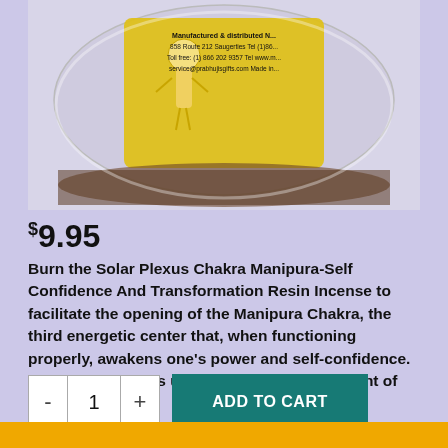[Figure (photo): Product photo of a glass jar with yellow label showing a chakra figure. Label reads: Manufactured & distributed by N... 858 Route 212 Saugerties Tel (1)86... Toll free: (1) 866 202 9357 Tel www.m... service@prabhujisgifts.com Made in...]
$9.95
Burn the Solar Plexus Chakra Manipura-Self Confidence And Transformation Resin Incense to facilitate the opening of the Manipura Chakra, the third energetic center that, when functioning properly, awakens one’s power and self-confidence. This chakra brings us in touch with the element of fire.